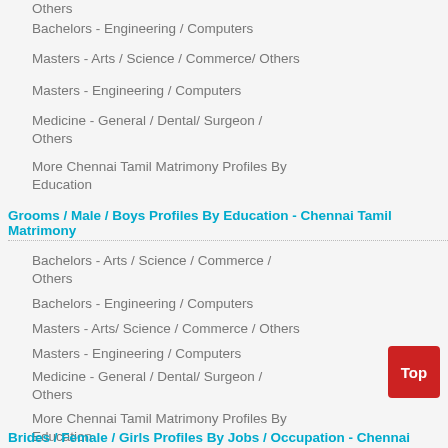Others
Bachelors - Engineering / Computers
Masters - Arts / Science / Commerce/ Others
Masters - Engineering / Computers
Medicine - General / Dental/ Surgeon / Others
More Chennai Tamil Matrimony Profiles By Education
Grooms / Male / Boys Profiles By Education - Chennai Tamil Matrimony
Bachelors - Arts / Science / Commerce / Others
Bachelors - Engineering / Computers
Masters - Arts/ Science / Commerce / Others
Masters - Engineering / Computers
Medicine - General / Dental/ Surgeon / Others
More Chennai Tamil Matrimony Profiles By Education
Brides / Female / Girls Profiles By Jobs / Occupation - Chennai Tamil Matrimony